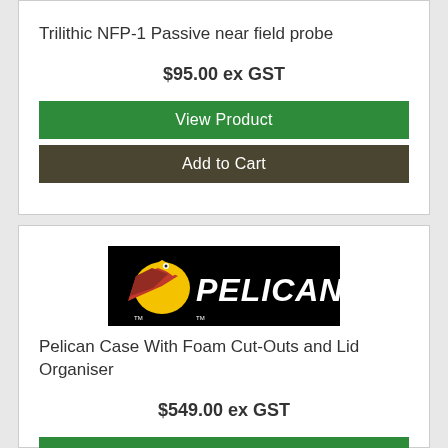Trilithic NFP-1 Passive near field probe
$95.00 ex GST
View Product
Add to Cart
[Figure (logo): Pelican brand logo — black background with yellow pelican bird and white PELICAN text]
Pelican Case With Foam Cut-Outs and Lid Organiser
$549.00 ex GST
View Product